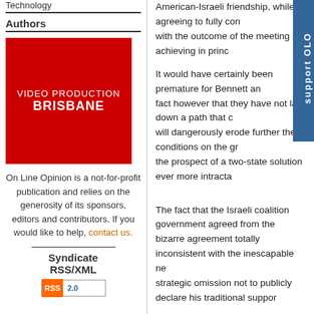Technology
Authors
[Figure (other): Video Production Brisbane advertisement - red background with white text]
On Line Opinion is a not-for-profit publication and relies on the generosity of its sponsors, editors and contributors. If you would like to help, contact us.
Syndicate RSS/XML
[Figure (other): RSS 2.0 badge]
American-Israeli friendship, while agreeing to fully consider with the outcome of the meeting by achieving in princ...
It would have certainly been premature for Bennett and... fact however that they have not laid down a path that c... will dangerously erode further the conditions on the gro... the prospect of a two-state solution ever more intractab...
The fact that the Israeli coalition government agreed from the bizarre agreement totally inconsistent with the inescapable ne... strategic omission not to publicly declare his traditional suppor...